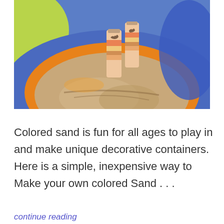[Figure (photo): A photo showing colorful sand in bowls and decorative glass bottles filled with layered colored sand, featuring a camel design on the bottles. An orange bowl filled with beige sand sits in the center, with blue and yellow-green bowls visible around it.]
Colored sand is fun for all ages to play in and make unique decorative containers. Here is a simple, inexpensive way to Make your own colored Sand . . .
continue reading